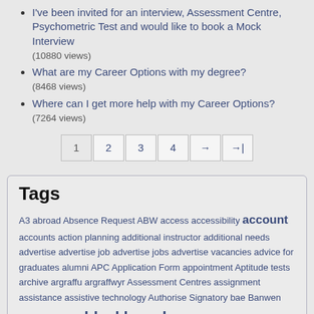I've been invited for an interview, Assessment Centre, Psychometric Test and would like to book a Mock Interview (10880 views)
What are my Career Options with my degree? (8468 views)
Where can I get more help with my Career Options? (7264 views)
Pagination: 1 2 3 4 → →|
Tags
A3 abroad Absence Request ABW access accessibility account accounts action planning additional instructor additional needs advertise advertise job advertise jobs advertise vacancies advice for graduates alumni APC Application Form appointment Aptitude tests archive argraffu argraffwyr Assessment Centres assignment assistance assistive technology Authorise Signatory bae Banwen bay Blackbaord blackboard blackboard account Blackboard tests blog browser Bursaries campus campus pack can't find materials can't see module can't see modules Canvas card career choice Career Masterclasses